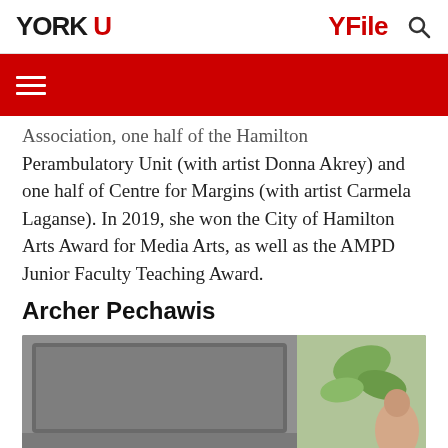YORK U   YFile
Association, one half of the Hamilton Perambulatory Unit (with artist Donna Akrey) and one half of Centre for Margins (with artist Carmela Laganse). In 2019, she won the City of Hamilton Arts Award for Media Arts, as well as the AMPD Junior Faculty Teaching Award.
Archer Pechawis
[Figure (photo): Photo showing a laptop computer in the foreground and a person near a plant in the background]